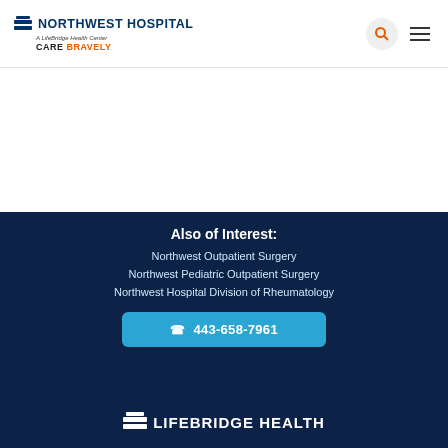Northwest Hospital | A LifeBridge Health Center | CARE BRAVELY
Also of Interest:
Northwest Outpatient Surgery
Northwest Pediatric Outpatient Surgery
Northwest Hospital Division of Rheumatology
443-658-7961
LIFEBRIDGE HEALTH